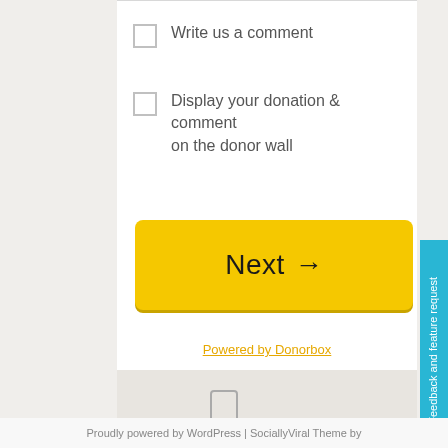Write us a comment
Display your donation & comment on the donor wall
Next →
Powered by Donorbox
Feedback and feature request
[Figure (other): Mobile phone outline icon]
Proudly powered by WordPress | SociallyViral Theme by